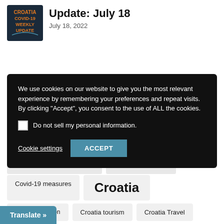[Figure (logo): Croatia COVID-19 Weekly Update logo with orange text on dark background]
Update: July 18
July 18, 2022
We use cookies on our website to give you the most relevant experience by remembering your preferences and repeat visits. By clicking “Accept”, you consent to the use of ALL the cookies.
Do not sell my personal information.
Cookie settings
ACCEPT
Covid-19 measures
Croatia
Croatian Aviation
Croatia tourism
Croatia Travel
Translate »